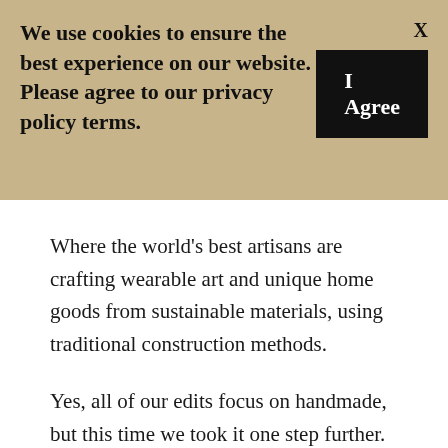We use cookies to ensure the best experience on our website. Please agree to our privacy policy terms.
I Agree
Where the world's best artisans are crafting wearable art and unique home goods from sustainable materials, using traditional construction methods.
Yes, all of our edits focus on handmade, but this time we took it one step further. These skilled craftspeople, renowned for the work that they do, some locally, some internationally, are working with forward materials...